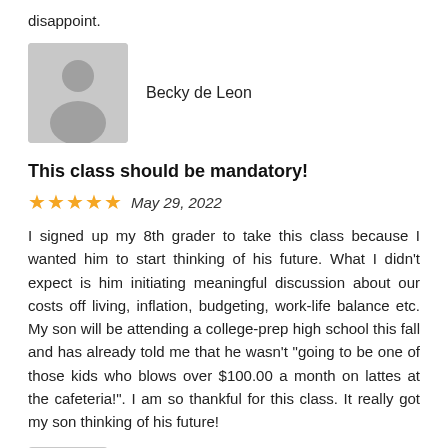disappoint.
[Figure (illustration): Gray placeholder avatar with person silhouette]
Becky de Leon
This class should be mandatory!
★★★★★  May 29, 2022
I signed up my 8th grader to take this class because I wanted him to start thinking of his future. What I didn't expect is him initiating meaningful discussion about our costs off living, inflation, budgeting, work-life balance etc. My son will be attending a college-prep high school this fall and has already told me that he wasn't "going to be one of those kids who blows over $100.00 a month on lattes at the cafeteria!". I am so thankful for this class. It really got my son thinking of his future!
[Figure (illustration): Gray placeholder avatar partially visible at bottom]